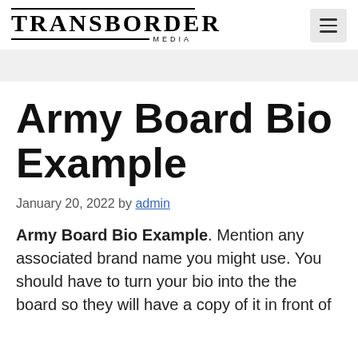TRANSBORDER MEDIA
Army Board Bio Example
January 20, 2022 by admin
Army Board Bio Example. Mention any associated brand name you might use. You should have to turn your bio into the the board so they will have a copy of it in front of